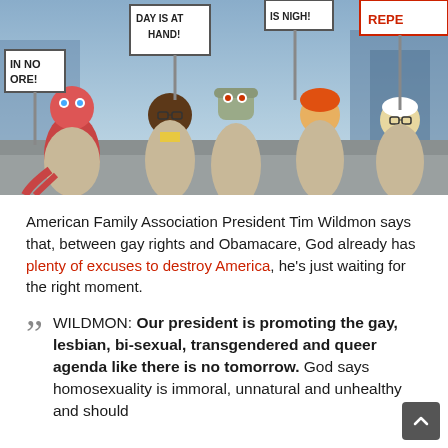[Figure (illustration): A cartoon screenshot from Futurama showing characters dressed in robes holding protest signs. Signs read: 'IN NO ORE!', 'DAY IS AT HAND!', 'IS NIGH!', and a red sign partially visible. Characters include Zoidberg, Hermes, Bender, Fry, and Professor Farnsworth.]
American Family Association President Tim Wildmon says that, between gay rights and Obamacare, God already has plenty of excuses to destroy America, he's just waiting for the right moment.
WILDMON: Our president is promoting the gay, lesbian, bi-sexual, transgendered and queer agenda like there is no tomorrow. God says homosexuality is immoral, unnatural and unhealthy and should [be...]